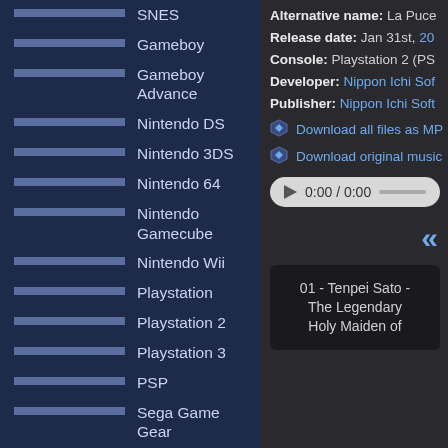SNES
Gameboy
Gameboy Advance
Nintendo DS
Nintendo 3DS
Nintendo 64
Nintendo Gamecube
Nintendo Wii
Playstation
Playstation 2
Playstation 3
PSP
Sega Game Gear
Sega Master System
Sega Genesis / Mega Drive
Sega Saturn
Sega Dreamcast
TurboGrafx-16
Xbox
Xbox 360
Alternative name: La Puce
Release date: Jan 31st, 200
Console: Playstation 2 (PS
Developer: Nippon Ichi Sof
Publisher: Nippon Ichi Soft
Download all files as MP
Download original music
0:00 / 0:00
«
01 - Tenpei Sato - The Legendary Holy Maiden of